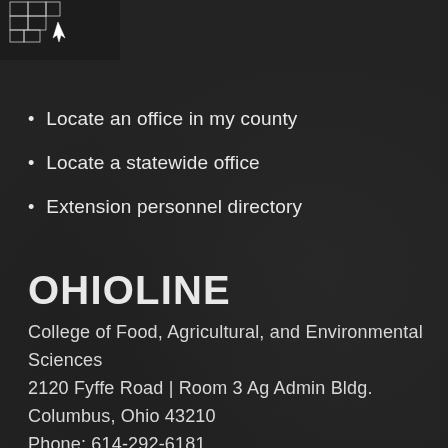[Figure (map): Partial map of Ohio counties shown in white outline on dark background, top-left corner]
Locate an office in my county
Locate a statewide office
Extension personnel directory
OHIOLINE
College of Food, Agricultural, and Environmental Sciences
2120 Fyffe Road | Room 3 Ag Admin Bldg.
Columbus, Ohio 43210
Phone: 614-292-6181